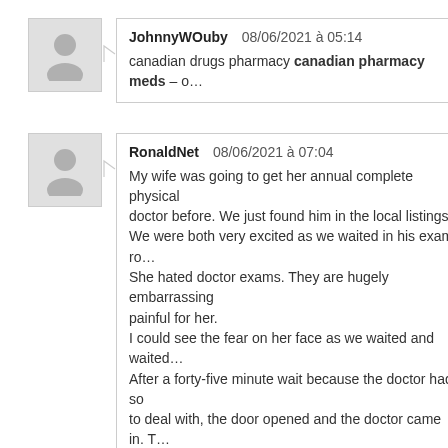JohnnyWOuby  08/06/2021 à 05:14
canadian drugs pharmacy canadian pharmacy meds – o...
RonaldNet  08/06/2021 à 07:04
My wife was going to get her annual complete physical doctor before. We just found him in the local listings. We were both very excited as we waited in his exam ro... She hated doctor exams. They are hugely embarrassing painful for her. I could see the fear on her face as we waited and waited. After a forty-five minute wait because the doctor had so to deal with, the door opened and the doctor came in. T... anticipation made us both as wound up as people can be felt electric. And then… https://telegra.ph/My-wifes-physical-exam-06-07